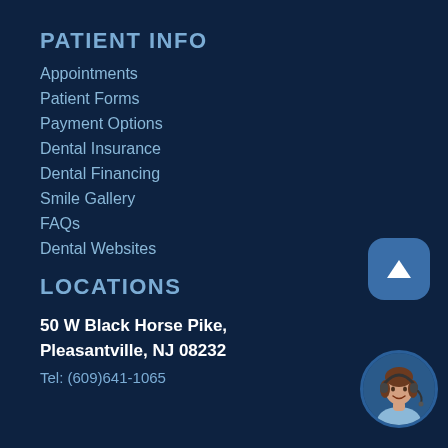PATIENT INFO
Appointments
Patient Forms
Payment Options
Dental Insurance
Dental Financing
Smile Gallery
FAQs
Dental Websites
LOCATIONS
50 W Black Horse Pike, Pleasantville, NJ 08232
Tel: (609)641-1065
[Figure (illustration): Scroll-to-top button with upward triangle arrow icon, rounded square shape in blue]
[Figure (photo): Circular avatar of a smiling woman with a headset, used as chat support button]